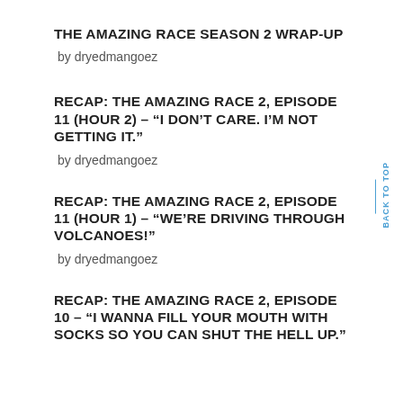THE AMAZING RACE SEASON 2 WRAP-UP
by dryedmangoez
RECAP: THE AMAZING RACE 2, EPISODE 11 (HOUR 2) – “I DON’T CARE. I’M NOT GETTING IT.”
by dryedmangoez
RECAP: THE AMAZING RACE 2, EPISODE 11 (HOUR 1) – “WE’RE DRIVING THROUGH VOLCANOES!”
by dryedmangoez
RECAP: THE AMAZING RACE 2, EPISODE 10 – “I WANNA FILL YOUR MOUTH WITH SOCKS SO YOU CAN SHUT THE HELL UP.”